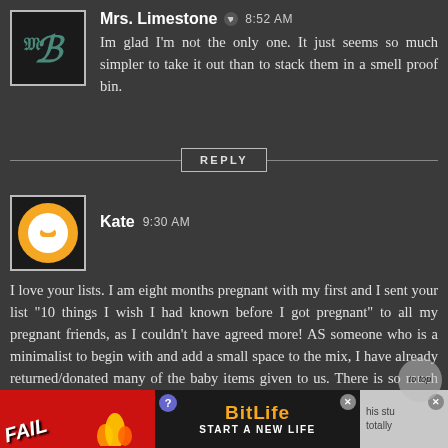Mrs. Limestone 8:52 AM
Im glad I'm not the only one. It just seems so much simpler to take it out than to stack them in a smell proof bin.
REPLY
Kate 9:30 AM
I love your lists. I am eight months pregnant with my first and I sent your list "10 things I wish I had known before I got pregnant" to all my pregnant friends, as I couldn't have agreed more! AS someone who is a minimalist to begin with and add a small space to the mix, I have already returned/donated many of the baby items given to us. There is so much crap! Since we are having a June baby, I think onesies will be the one thing I disagree with on the
[Figure (screenshot): BitLife advertisement banner at the bottom of the page with 'FAIL' text and 'START A NEW LIFE' text]